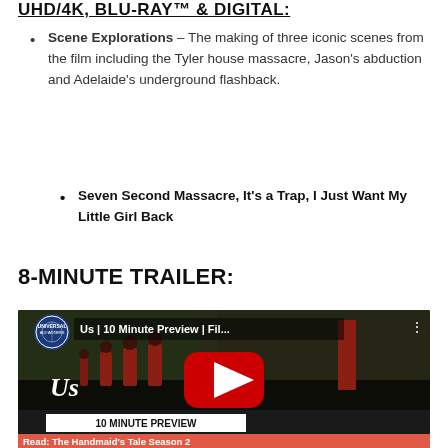UHD/4K, BLU-RAY™ & DIGITAL:
Scene Explorations – The making of three iconic scenes from the film including the Tyler house massacre, Jason's abduction and Adelaide's underground flashback.
Seven Second Massacre, It's a Trap, I Just Want My Little Girl Back
8-MINUTE TRAILER:
[Figure (screenshot): YouTube video thumbnail showing 'Us | 10 Minute Preview | Fil...' with four figures in red jumpsuits standing outside, Universal All-Access logo top left, YouTube play button in center, '10 MINUTE PREVIEW' text bar at bottom]
Read: The Handmaid's Tale Season 2...